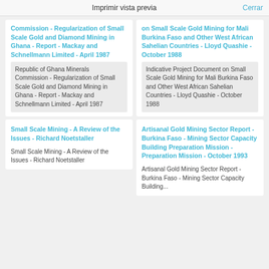Imprimir vista previa    Cerrar
Commission - Regularization of Small Scale Gold and Diamond Mining in Ghana - Report - Mackay and Schnellmann Limited - April 1987
Republic of Ghana Minerals Commission - Regularization of Small Scale Gold and Diamond Mining in Ghana - Report - Mackay and Schnellmann Limited - April 1987
Small Scale Mining - A Review of the Issues - Richard Noetstaller
Small Scale Mining - A Review of the Issues - Richard Noetstaller
on Small Scale Gold Mining for Mali Burkina Faso and Other West African Sahelian Countries - Lloyd Quashie - October 1988
Indicative Project Document on Small Scale Gold Mining for Mali Burkina Faso and Other West African Sahelian Countries - Lloyd Quashie - October 1988
Artisanal Gold Mining Sector Report - Burkina Faso - Mining Sector Capacity Building Preparation Mission - Preparation Mission - October 1993
Artisanal Gold Mining Sector Report - Burkina Faso - Mining Sector Capacity Building...